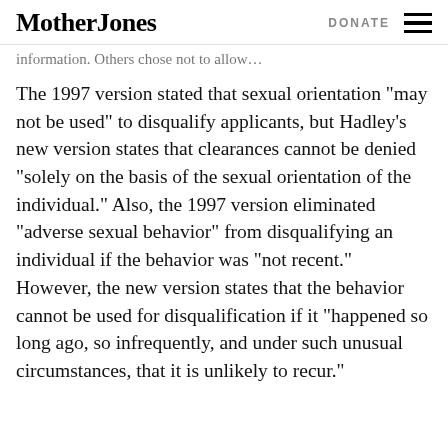Mother Jones  DONATE
The 1997 version stated that sexual orientation “may not be used” to disqualify applicants, but Hadley’s new version states that clearances cannot be denied “solely on the basis of the sexual orientation of the individual.” Also, the 1997 version eliminated “adverse sexual behavior” from disqualifying an individual if the behavior was “not recent.” However, the new version states that the behavior cannot be used for disqualification if it “happened so long ago, so infrequently, and under such unusual circumstances, that it is unlikely to recur.”